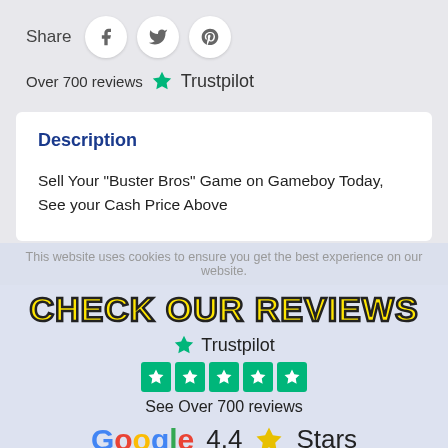Share
[Figure (logo): Social share icons: Facebook, Twitter, Pinterest in white circles]
Over 700 reviews ★ Trustpilot
Description
Sell Your "Buster Bros" Game on Gameboy Today, See your Cash Price Above
This website uses cookies to ensure you get...
CHECK OUR REVIEWS
[Figure (logo): Trustpilot logo with 5 green star rating squares and text: See Over 700 reviews]
[Figure (logo): Google logo with 4.4 star rating and Stars text]